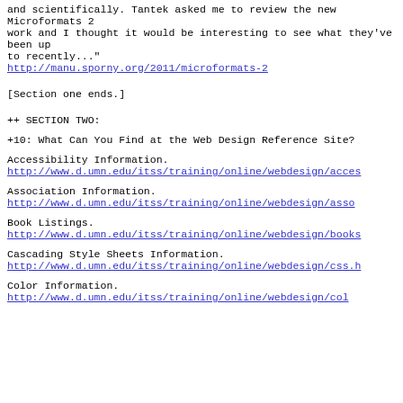and scientifically. Tantek asked me to review the new Microformats 2
work and I thought it would be interesting to see what they've been up
to recently..."
http://manu.sporny.org/2011/microformats-2
[Section one ends.]
++ SECTION TWO:
+10: What Can You Find at the Web Design Reference Site?
Accessibility Information.
http://www.d.umn.edu/itss/training/online/webdesign/acces...
Association Information.
http://www.d.umn.edu/itss/training/online/webdesign/asso...
Book Listings.
http://www.d.umn.edu/itss/training/online/webdesign/books...
Cascading Style Sheets Information.
http://www.d.umn.edu/itss/training/online/webdesign/css.h...
Color Information.
http://www.d.umn.edu/itss/training/online/webdesign/col...